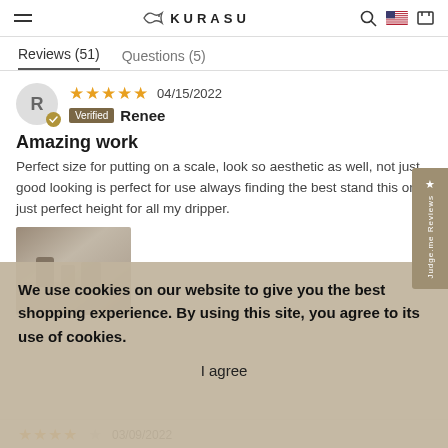KURASU
Reviews (51)   Questions (5)
★★★★★  04/15/2022
Verified  Renee
Amazing work
Perfect size for putting on a scale, look so aesthetic as well, not just good looking is perfect for use always finding the best stand this one just perfect height for all my dripper.
[Figure (photo): Photo of coffee dripper stand on a wooden surface]
We use cookies on our website to give you the best shopping experience. By using this site, you agree to its use of cookies.
I agree
★★★★☆  03/09/2022